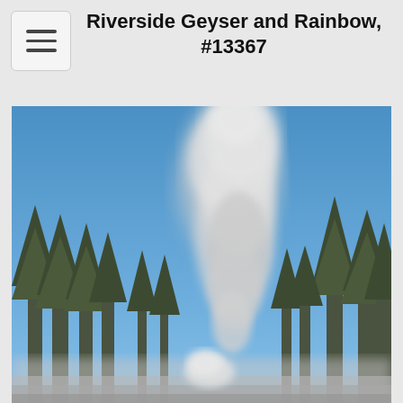Riverside Geyser and Rainbow, #13367
[Figure (photo): A photograph of Riverside Geyser erupting with a large plume of white steam rising into a clear blue sky, surrounded by conifer trees in Yellowstone National Park.]